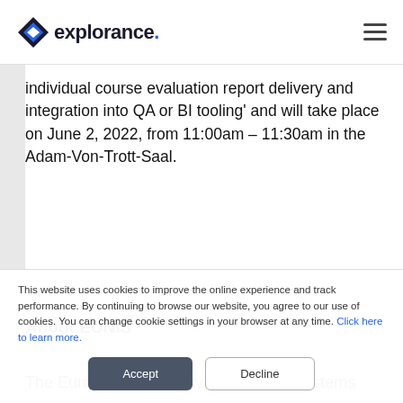[Figure (logo): Explorance logo with diamond-shaped icon and wordmark 'explorance.' with blue period]
individual course evaluation report delivery and integration into QA or BI tooling' and will take place on June 2, 2022, from 11:00am – 11:30am in the Adam-Von-Trott-Saal.
About EUNIS
The European University Information Systems
This website uses cookies to improve the online experience and track performance. By continuing to browse our website, you agree to our use of cookies. You can change cookie settings in your browser at any time. Click here to learn more.